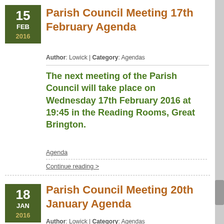Parish Council Meeting 17th February Agenda
Author: Lowick | Category: Agendas
The next meeting of the Parish Council will take place on Wednesday 17th February 2016 at 19:45 in the Reading Rooms, Great Brington.
Agenda
Continue reading >
Parish Council Meeting 20th January Agenda
Author: Lowick | Category: Agendas